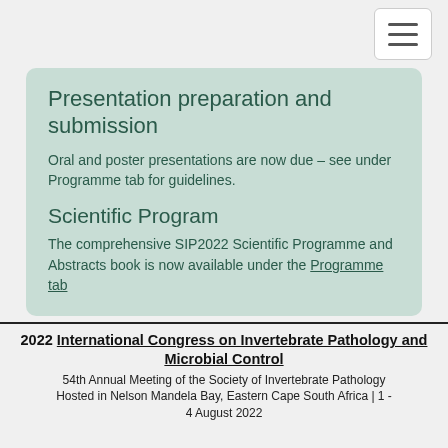[hamburger menu button]
Presentation preparation and submission
Oral and poster presentations are now due – see under Programme tab for guidelines.
Scientific Program
The comprehensive SIP2022 Scientific Programme and Abstracts book is now available under the Programme tab
2022 International Congress on Invertebrate Pathology and Microbial Control
54th Annual Meeting of the Society of Invertebrate Pathology
Hosted in Nelson Mandela Bay, Eastern Cape South Africa | 1 - 4 August 2022